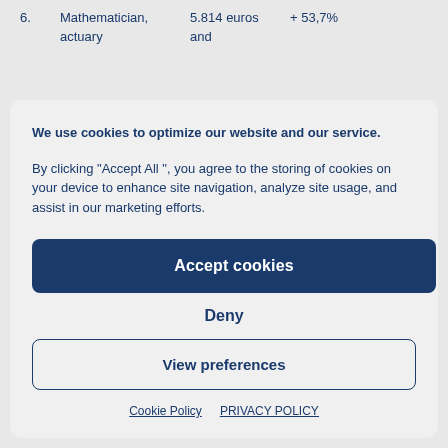6.   Mathematician, actuary and   5.814 euros   + 53,7%
We use cookies to optimize our website and our service.
By clicking “Accept All”, you agree to the storing of cookies on your device to enhance site navigation, analyze site usage, and assist in our marketing efforts.
Accept cookies
Deny
View preferences
Cookie Policy   PRIVACY POLICY